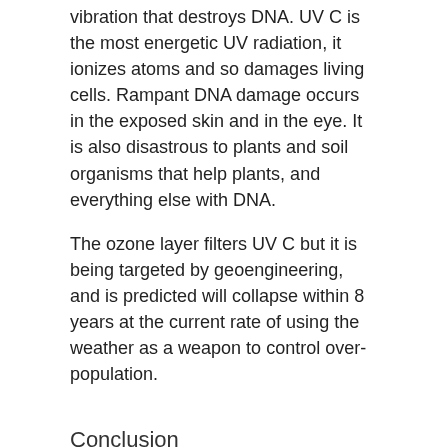vibration that destroys DNA. UV C is the most energetic UV radiation, it ionizes atoms and so damages living cells. Rampant DNA damage occurs in the exposed skin and in the eye. It is also disastrous to plants and soil organisms that help plants, and everything else with DNA.
The ozone layer filters UV C but it is being targeted by geoengineering, and is predicted will collapse within 8 years at the current rate of using the weather as a weapon to control over-population.
Conclusion
Everything can be taken from a man but one thing: the last of the human freedom – to choose one's attitude in